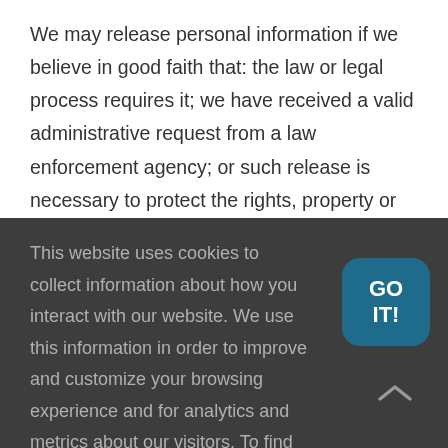We may release personal information if we believe in good faith that: the law or legal process requires it; we have received a valid administrative request from a law enforcement agency; or such release is necessary to protect the rights, property or safety of totaltech4u.com, or any of our respective affiliates, business partners
This website uses cookies to collect information about how you interact with our website. We use this information in order to improve and customize your browsing experience and for analytics and metrics about our visitors. To find out more about the cookies we use, see our Privacy Policy.